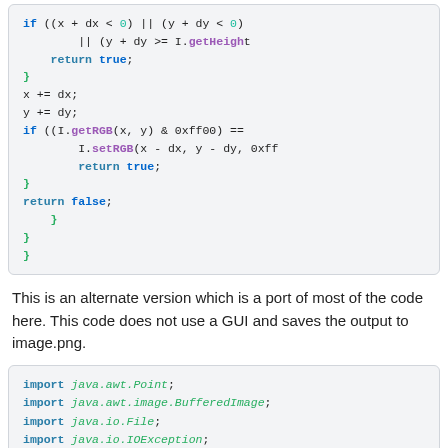[Figure (screenshot): Code block showing Java method continuation with if conditions, return statements, and closing braces using syntax highlighting]
This is an alternate version which is a port of most of the code here. This code does not use a GUI and saves the output to image.png.
[Figure (screenshot): Code block showing Java import statements: java.awt.Point, java.awt.image.BufferedImage, java.io.File, java.io.IOException]